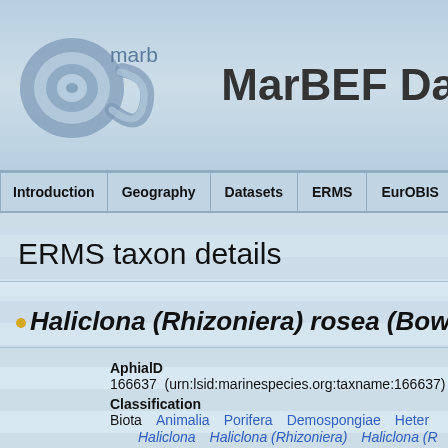[Figure (logo): MarBEF logo with spiral shell graphic and 'marbef' text, followed by 'MarBEF Da' site title]
Introduction | Geography | Datasets | ERMS | EurOBIS
ERMS taxon details
Haliclona (Rhizoniera) rosea (Bower
AphialD
166637  (urn:lsid:marinespecies.org:taxname:166637)
Classification
Biota   Animalia   Porifera   Demospongiae   Heter
     Haliclona   Haliclona (Rhizoniera)   Haliclona (Rhizon
Status
accepted
Rank
Species
Parent